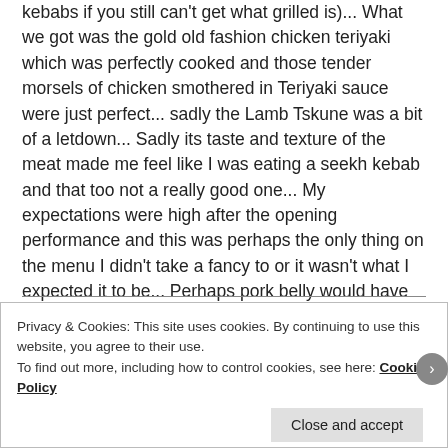kebabs if you still can't get what grilled is)... What we got was the gold old fashion chicken teriyaki which was perfectly cooked and those tender morsels of chicken smothered in Teriyaki sauce were just perfect... sadly the Lamb Tskune was a bit of a letdown... Sadly its taste and texture of the meat made me feel like I was eating a seekh kebab and that too not a really good one... My expectations were high after the opening performance and this was perhaps the only thing on the menu I didn't take a fancy to or it wasn't what I expected it to be... Perhaps pork belly would have been a better option...
Privacy & Cookies: This site uses cookies. By continuing to use this website, you agree to their use.
To find out more, including how to control cookies, see here: Cookie Policy
Close and accept